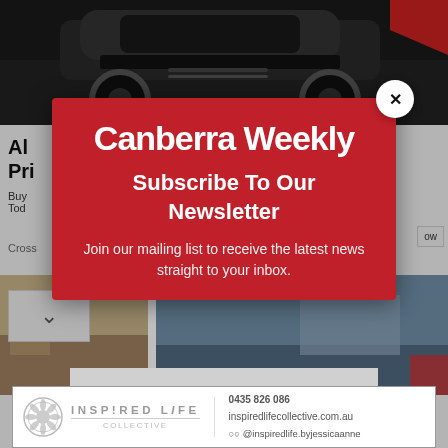[Figure (screenshot): Background webpage showing a car (darkly lit crossover/SUV) at the top, partially obscured article text reading 'All... Pri...' with body text 'Buy... Tod...' and a crossover label, plus bottom strip with two landscape/travel images and a chevron navigation element]
[Figure (screenshot): Newsletter subscription modal popup for Canberra Weekly on a red background, containing the Canberra Weekly logo/brand name, 'Subscribe To Our Newsletter' headline, descriptive text 'Join our mailing list to receive the latest news straight to your inbox.', an email input field, and a SUBSCRIBE! button]
[Figure (logo): Inspired Life advertisement banner at the bottom showing the Inspired Life logo (circular icon with floral/sun motif), 'INSPIRED LiFE' text, phone number 0435 826 086, website inspiredlifecollective.com.au, and social media handle @inspiredlife.byjessicaanne]